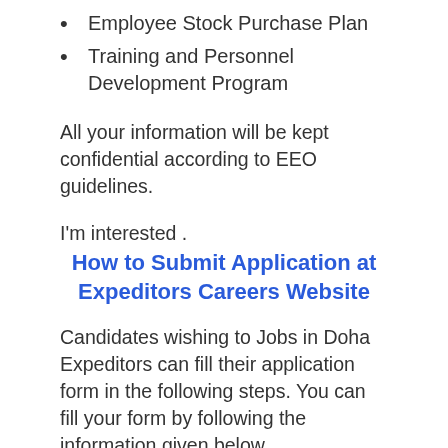Employee Stock Purchase Plan
Training and Personnel Development Program
All your information will be kept confidential according to EEO guidelines.
I'm interested .
How to Submit Application at Expeditors Careers Website
Candidates wishing to Jobs in Doha Expeditors can fill their application form in the following steps. You can fill your form by following the information given below.
First of all, you have to visit the official website of Expeditors. After this, you will